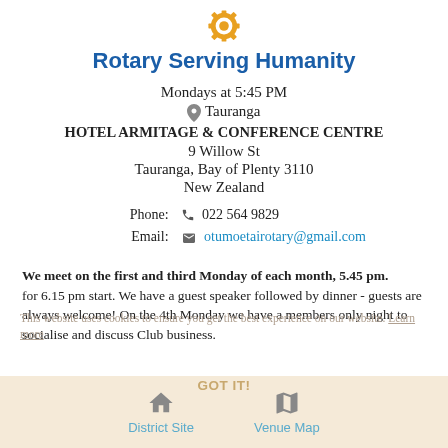[Figure (logo): Rotary International logo - golden gear/cog wheel emblem]
Rotary Serving Humanity
Mondays at 5:45 PM
📍 Tauranga
HOTEL ARMITAGE & CONFERENCE CENTRE
9 Willow St
Tauranga, Bay of Plenty 3110
New Zealand
| Phone: | 📞 022 564 9829 |
| Email: | otumoetairotary@gmail.com |
We meet on the first and third Monday of each month, 5.45 pm. for 6.15 pm start. We have a guest speaker followed by dinner - guests are always welcome! On the 4th Monday we have a members only night to socialise and discuss Club business.
This website uses cookies to ensure you get the best experience on our website. Learn more
District Site   Venue Map